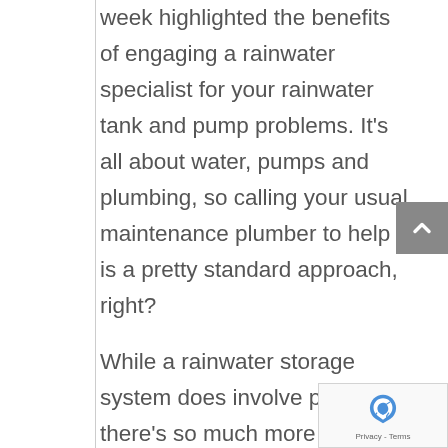week highlighted the benefits of engaging a rainwater specialist for your rainwater tank and pump problems. It's all about water, pumps and plumbing, so calling your usual maintenance plumber to help is a pretty standard approach, right?
While a rainwater storage system does involve plumbing, there's so much more to ensuring the best possible outcome.  The difference is focus, experience and a wholistic approach to your rainwater system.  At Water Tactics we only deal with rain water and everything to do with rainwater capture, storage and use.  Assuming you already have your water tank installed, the main reason you will seek help is when something goes wrong with the pump.